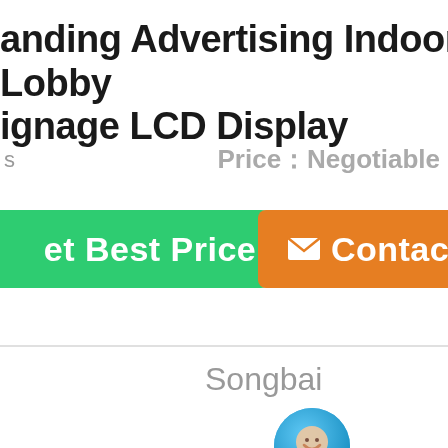anding Advertising Indoor Lobby ignage LCD Display
Price：Negotiable
[Figure (screenshot): Green 'Get Best Price' button, blue chat bubble with 'Chat Now' label, and orange 'Contact' button]
Songbai Road,Guangming District, Shenzhen